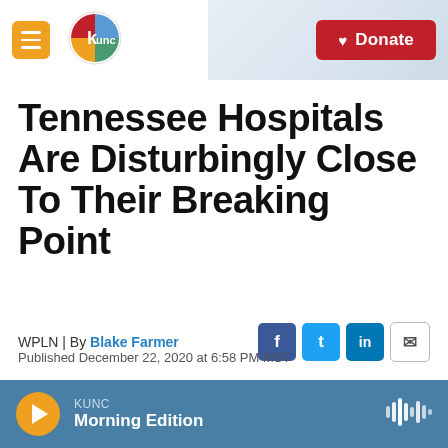KUNC | Donate
Tennessee Hospitals Are Disturbingly Close To Their Breaking Point
WPLN | By Blake Farmer
Published December 22, 2020 at 6:58 PM MST
KUNC Morning Edition